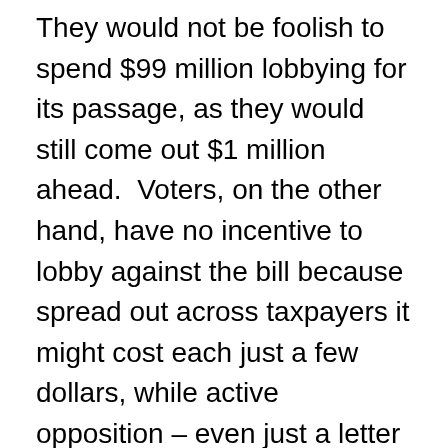They would not be foolish to spend $99 million lobbying for its passage, as they would still come out $1 million ahead.  Voters, on the other hand, have no incentive to lobby against the bill because spread out across taxpayers it might cost each just a few dollars, while active opposition – even just a letter to a Congressperson – might take hours of time that could be spent doing something worth more than a few dollars.  This is why democracy results in concentrated benefits and dispersed or diffused costs.  The rationale of politics is to provide benefits to concentrated